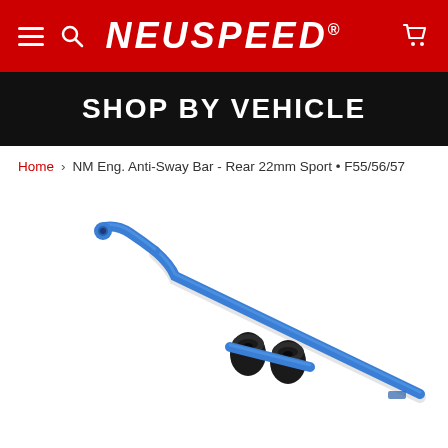NEUSPEED
SHOP BY VEHICLE
Home > NM Eng. Anti-Sway Bar - Rear 22mm Sport • F55/56/57
[Figure (photo): Blue MINI Cooper anti-sway bar with two black rubber bushings, photographed on white background. The bar is a long blue steel rod bent at one end, with two cylindrical black rubber mounts in the center.]